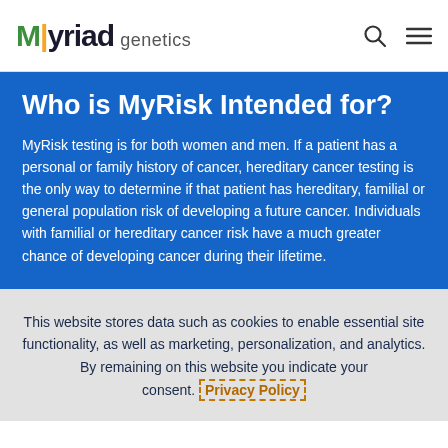Myriad genetics
Who is MyRisk Intended for?
MyRisk testing is for both women and men. If a patient has a personal or family history of cancer, hereditary cancer testing is the only way to determine if that patient has hereditary, familial or general population risk of developing a future cancer. Individuals with familial or hereditary cancer risk have a much greater chance of developing cancer during their lifetime.
This website stores data such as cookies to enable essential site functionality, as well as marketing, personalization, and analytics. By remaining on this website you indicate your consent. Privacy Policy